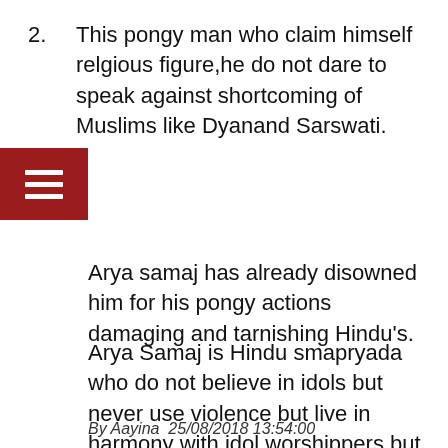2. This pongy man who claim himself relgious figure,he do not dare to speak against shortcoming of Muslims like Dyanand Sarswati.
Arya samaj has already disowned him for his pongy actions damaging and tarnishing Hindu's.
Arya Samaj is Hindu smapryada who do not believe in idols but never use violence but live in harmony with idol worshippers but this man has Muslim touch of abushing Hindus idol worship.
By Aayina  25/08/2018 13:54:00